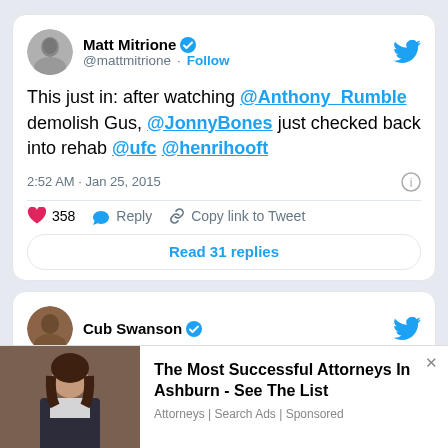[Figure (screenshot): Tweet by Matt Mitrione (@mattmitrione) with verified badge and Follow link. Tweet text: 'This just in: after watching @Anthony_Rumble demolish Gus, @JonnyBones just checked back into rehab @ufc @henrihooft'. Posted 2:52 AM · Jan 25, 2015. 358 likes. Reply, Copy link to Tweet actions. Read 31 replies button.]
[Figure (screenshot): Partial tweet by Cub Swanson with verified badge visible at bottom.]
[Figure (advertisement): Ad overlay: 'The Most Successful Attorneys In Ashburn - See The List' with attorney photo and 'Attorneys | Search Ads | Sponsored' label.]